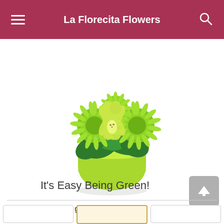La Florecita Flowers
[Figure (photo): A green floral arrangement in a lime-green pot, featuring orchids and green spider mums with tropical leaves.]
It's Easy Being Green!
Pick your perfect gift: